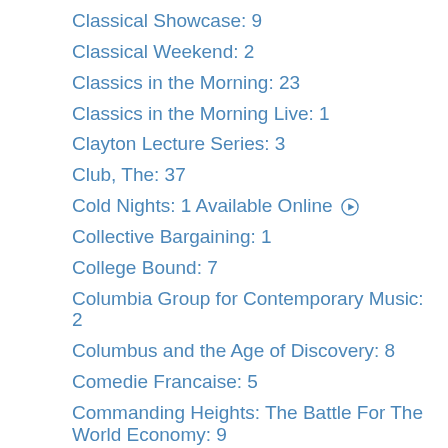Classical Showcase: 9
Classical Weekend: 2
Classics in the Morning: 23
Classics in the Morning Live: 1
Clayton Lecture Series: 3
Club, The: 37
Cold Nights: 1 Available Online ▶
Collective Bargaining: 1
College Bound: 7
Columbia Group for Contemporary Music: 2
Columbus and the Age of Discovery: 8
Comedie Francaise: 5
Commanding Heights: The Battle For The World Economy: 9